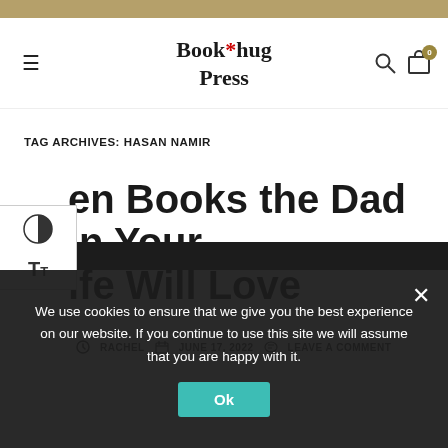Book*hug Press
TAG ARCHIVES: HASAN NAMIR
en Books the Dad in Your ife Will Love
RACHEL   JUNE 17, 2022   LEAVE A COMMENT
We use cookies to ensure that we give you the best experience on our website. If you continue to use this site we will assume that you are happy with it.